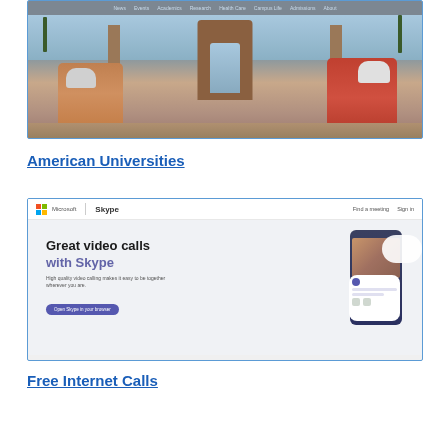[Figure (screenshot): Screenshot of an American university website (Stanford-like) showing a banner image with two cyclists wearing helmets in front of an archway, with a navigation bar at top showing links: News, Events, Academics, Research, Health Care, Campus Life, Admissions, About]
American Universities
[Figure (screenshot): Screenshot of the Microsoft Skype website showing the header with Microsoft and Skype logos, and main content area with headline 'Great video calls with Skype' in black and purple, subtext 'High quality video calling makes it easy to be together wherever you are', a blue 'Open Skype in your browser' button, and a smartphone mockup on the right side with a cloud graphic]
Free Internet Calls